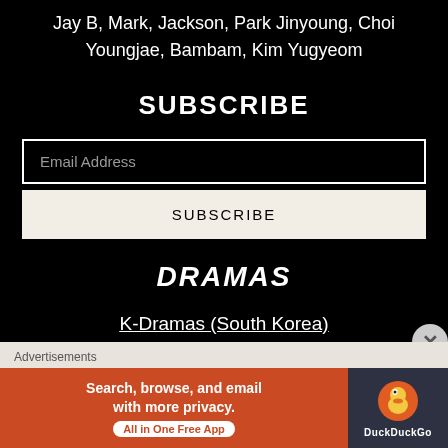Jay B, Mark, Jackson, Park Jinyoung, Choi Youngjae, Bambam, Kim Yugyeom
SUBSCRIBE
Email Address
SUBSCRIBE
DRAMAS
K-Dramas (South Korea)
Advertisements
[Figure (other): DuckDuckGo advertisement banner: orange left panel with text 'Search, browse, and email with more privacy. All in One Free App', dark right panel with DuckDuckGo logo and duck icon]